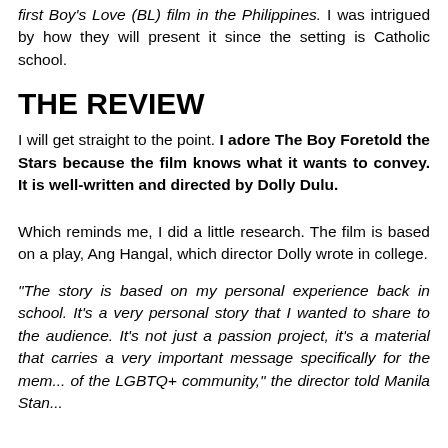first Boy's Love (BL) film in the Philippines. I was intrigued by how they will present it since the setting is Catholic school.
THE REVIEW
I will get straight to the point. I adore The Boy Foretold the Stars because the film knows what it wants to convey. It is well-written and directed by Dolly Dulu.
Which reminds me, I did a little research. The film is based on a play, Ang Hangal, which director Dolly wrote in college.
"The story is based on my personal experience back in school. It's a very personal story that I wanted to share to the audience. It's not just a passion project, it's a material that carries a very important message specifically for the members of the LGBTQ+ community," the director told Manila Stan...